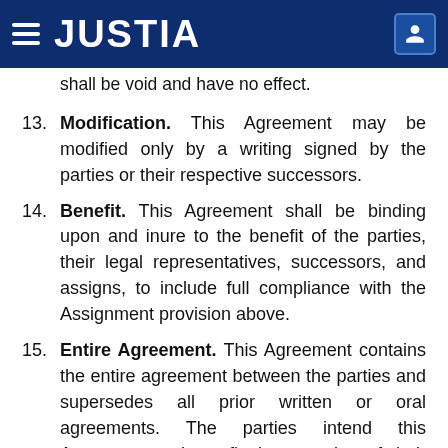JUSTIA
Agreement, without the written consent of NEVI, shall be void and have no effect.
13. Modification. This Agreement may be modified only by a writing signed by the parties or their respective successors.
14. Benefit. This Agreement shall be binding upon and inure to the benefit of the parties, their legal representatives, successors, and assigns, to include full compliance with the Assignment provision above.
15. Entire Agreement. This Agreement contains the entire agreement between the parties and supersedes all prior written or oral agreements. The parties intend this Agreement to be a final expression of their agreement and as a complete and